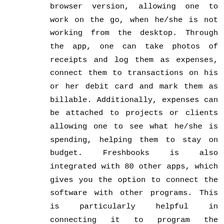browser version, allowing one to work on the go, when he/she is not working from the desktop. Through the app, one can take photos of receipts and log them as expenses, connect them to transactions on his or her debit card and mark them as billable. Additionally, expenses can be attached to projects or clients allowing one to see what he/she is spending, helping them to stay on budget. Freshbooks is also integrated with 80 other apps, which gives you the option to connect the software with other programs. This is particularly helpful in connecting it to program the business already uses for things like scheduling, marketing or analytics for instance.